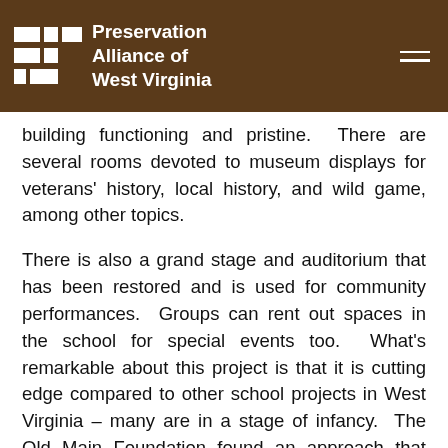Preservation Alliance of West Virginia
building functioning and pristine.  There are several rooms devoted to museum displays for veterans' history, local history, and wild game, among other topics.
There is also a grand stage and auditorium that has been restored and is used for community performances.  Groups can rent out spaces in the school for special events too.  What's remarkable about this project is that it is cutting edge compared to other school projects in West Virginia – many are in a stage of infancy.  The Old Main Foundation found an approach that worked and ran with it.  It may not work for every school building, but this project shows that there are endless options for preserving and re-using historic